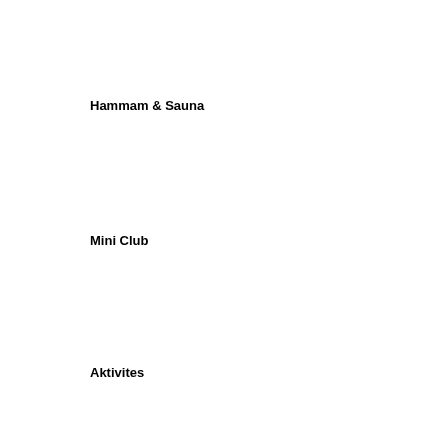Hammam & Sauna
Mini Club
Aktivites